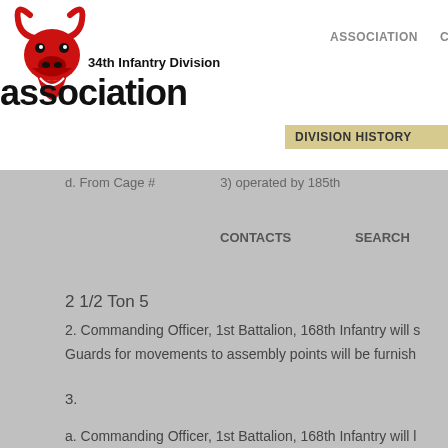34th Infantry Division association
ASSOCIATION   CHAPTERS
DIVISION HISTORY   COLLECTIONS
CONTACTS   SEARCH
d. From Cage #  3) operated by 185th
2 1/2 Ton 5
2. Commanding Officer, 1st Battalion, 168th Infantry will s
Guards for movements to assembly points will be furnish
3.
a. Commanding Officer, 1st Battalion, 168th Infantry will l